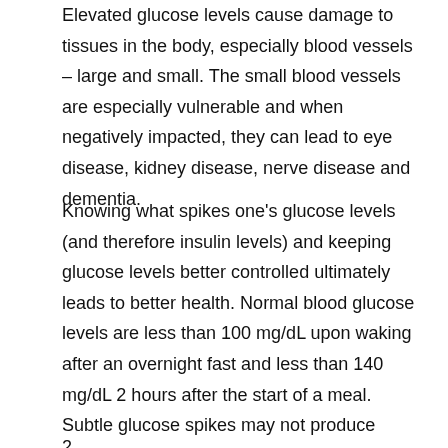Elevated glucose levels cause damage to tissues in the body, especially blood vessels – large and small. The small blood vessels are especially vulnerable and when negatively impacted, they can lead to eye disease, kidney disease, nerve disease and dementia.
Knowing what spikes one's glucose levels (and therefore insulin levels) and keeping glucose levels better controlled ultimately leads to better health. Normal blood glucose levels are less than 100 mg/dL upon waking after an overnight fast and less than 140 mg/dL 2 hours after the start of a meal. Subtle glucose spikes may not produce symptoms. People typically experience the classic symptoms of high blood sugar when their glucose levels are over 250 mg/dL but some who are sensitive may have symptoms at levels between 180-250 mg/dL. Read on to find out signs your blood sugar is too high.
2